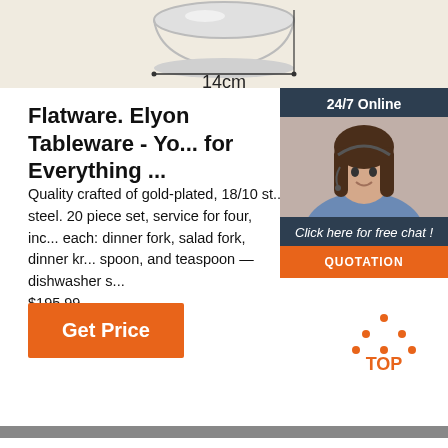[Figure (photo): Product measurement diagram showing a bowl/plate from above with a horizontal measurement line indicating 14cm width, on a beige/cream background]
Flatware. Elyon Tableware - Yo... for Everything ...
Quality crafted of gold-plated, 18/10 st... steel. 20 piece set, service for four, inc... each: dinner fork, salad fork, dinner kn... spoon, and teaspoon — dishwasher s... $195.99
[Figure (photo): Customer service chat widget showing a woman with headset, '24/7 Online' label, 'Click here for free chat!' text, and an orange QUOTATION button, on dark navy background]
[Figure (other): Orange 'Get Price' button]
[Figure (other): Orange TOP icon with dots forming a triangle above 'TOP' text]